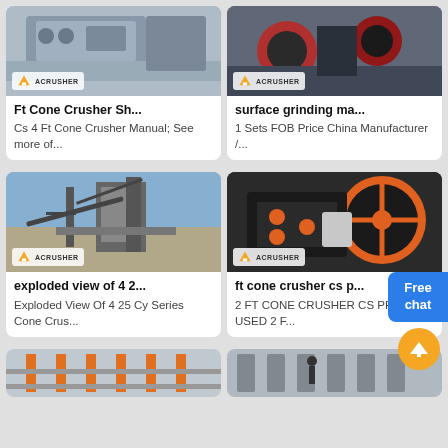[Figure (photo): Industrial cone crusher machine, gray metallic, ACRUSHER branded]
Ft Cone Crusher Sh...
Cs 4 Ft Cone Crusher Manual; See more of...
[Figure (photo): Surface grinding machine in factory, red and dark machinery, ACRUSHER branded]
surface grinding ma...
1 Sets FOB Price China Manufacturer /...
[Figure (photo): Large industrial crushing plant with conveyor belts against blue sky, ACRUSHER branded]
exploded view of 4 2...
Exploded View Of 4 25 Cy Series Cone Crus...
[Figure (photo): Close-up of jaw crusher with large orange flywheel, ACRUSHER branded]
ft cone crusher cs p...
2 FT CONE CRUSHER CS PRICE USED 2 F...
[Figure (photo): Industrial pipeline/machinery interior view]
[Figure (photo): Industrial machinery with worker and vertical columns]